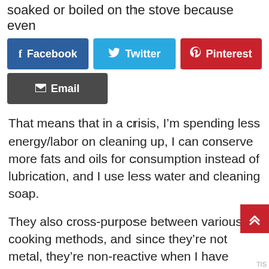soaked or boiled on the stove because even
[Figure (other): Social share buttons: Facebook (blue), Twitter (cyan), Pinterest (red), Email (dark gray)]
That means that in a crisis, I'm spending less energy/labor on cleaning up, I can conserve more fats and oils for consumption instead of lubrication, and I use less water and cleaning soap.
They also cross-purpose between various cooking methods, and since they're not metal, they're non-reactive when I have recipes for cheese that don't like steel or aluminum or copper.